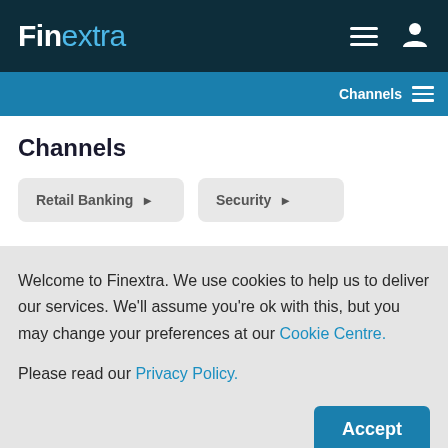Finextra
Channels
Channels
Retail Banking >
Security >
Welcome to Finextra. We use cookies to help us to deliver our services. We'll assume you're ok with this, but you may change your preferences at our Cookie Centre. Please read our Privacy Policy.
Accept